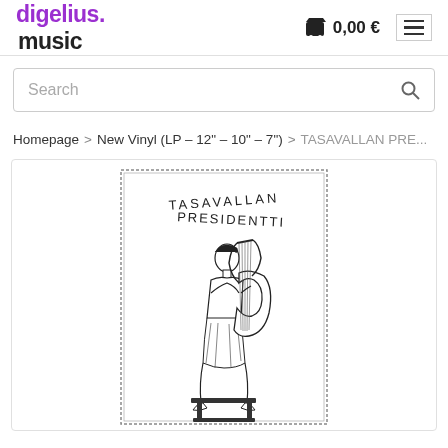digelius music  0,00 €  ≡
Search
Homepage > New Vinyl (LP – 12" – 10" – 7") > TASAVALLAN PRE...
[Figure (photo): Album cover for Tasavallan Presidentti showing a Greek-style figure seated and playing a lyre, with text 'TASAVALLAN PRESIDENTTI' arched above, black and white illustration with decorative border.]